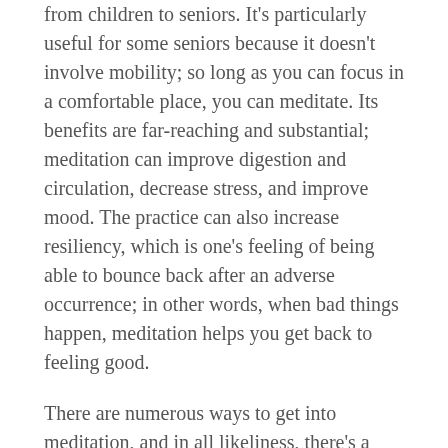from children to seniors. It's particularly useful for some seniors because it doesn't involve mobility; so long as you can focus in a comfortable place, you can meditate. Its benefits are far-reaching and substantial; meditation can improve digestion and circulation, decrease stress, and improve mood. The practice can also increase resiliency, which is one's feeling of being able to bounce back after an adverse occurrence; in other words, when bad things happen, meditation helps you get back to feeling good.
There are numerous ways to get into meditation, and in all likeliness, there's a meditation class happening somewhere near you right now. That said, one of the best parts of meditation is that practically anyone can do it anytime; there are resources available online to teach you how. You might consider this one such resource: if you want to meditate, right now, find a comfortable place to sit or lie down, close your